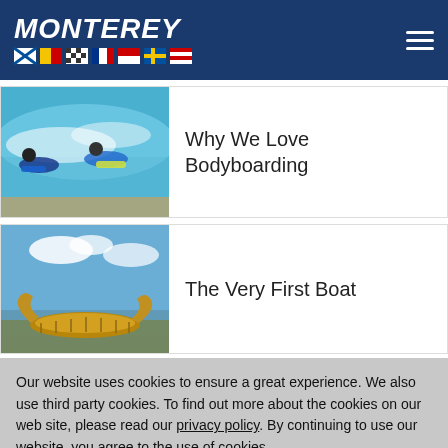[Figure (logo): Monterey boats logo with italic white text and nautical flag icons on dark blue background]
[Figure (photo): Two people bodyboarding in ocean waves]
Why We Love Bodyboarding
[Figure (photo): Traditional reed boat on a lake shore with sky and clouds]
The Very First Boat
Our website uses cookies to ensure a great experience. We also use third party cookies. To find out more about the cookies on our web site, please read our privacy policy. By continuing to use our website, you agree to the use of cookies.
Accept